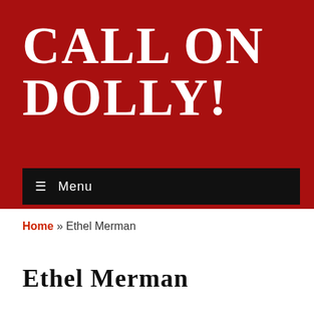CALL ON DOLLY!
☰ Menu
Home » Ethel Merman
Ethel Merman